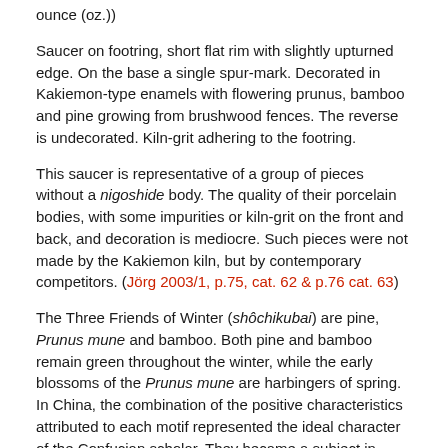ounce (oz.))
Saucer on footring, short flat rim with slightly upturned edge. On the base a single spur-mark. Decorated in Kakiemon-type enamels with flowering prunus, bamboo and pine growing from brushwood fences. The reverse is undecorated. Kiln-grit adhering to the footring.
This saucer is representative of a group of pieces without a nigoshide body. The quality of their porcelain bodies, with some impurities or kiln-grit on the front and back, and decoration is mediocre. Such pieces were not made by the Kakiemon kiln, but by contemporary competitors. (Jörg 2003/1, p.75, cat. 62 & p.76 cat. 63)
The Three Friends of Winter (shôchikubai) are pine, Prunus mune and bamboo. Both pine and bamboo remain green throughout the winter, while the early blossoms of the Prunus mune are harbingers of spring. In China, the combination of the positive characteristics attributed to each motif represented the ideal character of the Confucian scholar. They became a subject in Japanese painting in the 15th century, and are also found on Kakiemon porcelain. (Fitski 2011, p.154)
In China, the blossoms of the Prunus mume (ume) symbolize purity and renewal, and occur very early on in Chinese painting, frequently in combination with pine and bamboo. In Japan, it